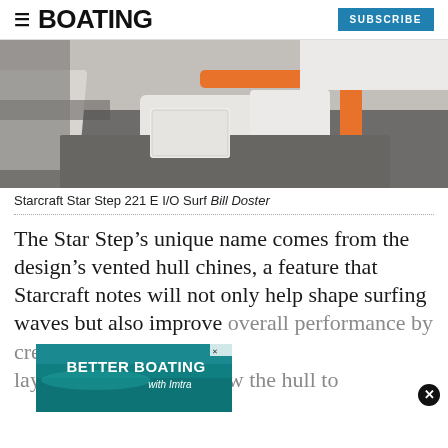BOATING | SUBSCRIBE
[Figure (photo): Interior of a Starcraft Star Step 221 E I/O Surf boat showing white and gray seating with orange accent strip]
Starcraft Star Step 221 E I/O Surf Bill Doster
The Star Step’s unique name comes from the design’s vented hull chines, a feature that Starcraft notes will not only help shape surfing waves but also improve over[all performance by creating] a layer of air bubbles below the hull to
[Figure (infographic): Advertisement overlay: BETTER BOATING with Imtra, with boat image background]